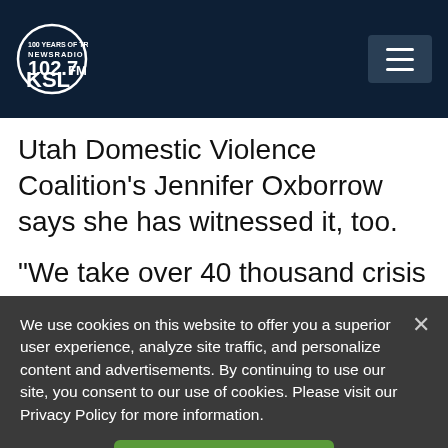KSL NewsRadio 102.7FM
Utah Domestic Violence Coalition's Jennifer Oxborrow says she has witnessed it, too.
“We take over 40 thousand crisis calls every year and we hear people, just about every day, who identify with some aspects of the
We use cookies on this website to offer you a superior user experience, analyze site traffic, and personalize content and advertisements. By continuing to use our site, you consent to our use of cookies. Please visit our Privacy Policy for more information.
Accept Cookies